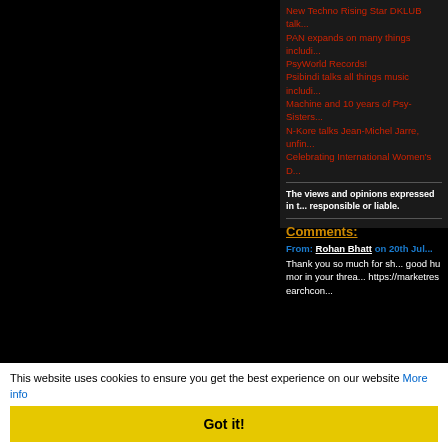New Techno Rising Star DKLUB talk...
PAN expands on many things includi... PsyWorld Records!
Psibindi talks all things music includi... Machine and 10 years of Psy-Sisters...
N-Kore talks Jean-Michel Jarre, unfin...
Celebrating International Women's D...
The views and opinions expressed in t... responsible or liable.
Comments:
From: Rohan Bhatt on 20th Jul...
Thank you so much for sh... good humor in your threa... https://marketresearchcon...
[Figure (logo): HarderFaster logo icon - circular broadcast symbol in cyan]
Search
SHARE
Donate
All trademarks and copyrights on this page are owned by their respective companies. All other content is (c) 2001-2022 HarderFaster.
This website uses cookies to ensure you get the best experience on our website More info
Got it!